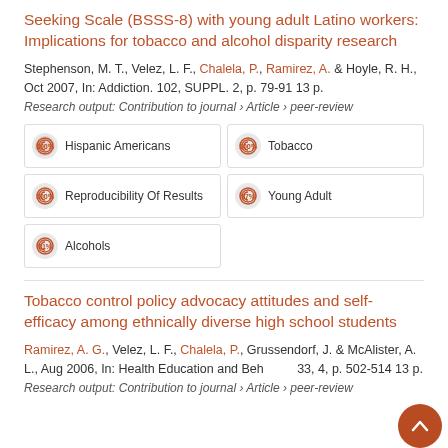Seeking Scale (BSSS-8) with young adult Latino workers: Implications for tobacco and alcohol disparity research
Stephenson, M. T., Velez, L. F., Chalela, P., Ramirez, A. & Hoyle, R. H., Oct 2007, In: Addiction. 102, SUPPL. 2, p. 79-91 13 p.
Research output: Contribution to journal › Article › peer-review
[Figure (infographic): Badge grid showing fingerprint-style percentage icons for: Hispanic Americans (100%), Tobacco (100%), Reproducibility Of Results (100%), Young Adult (97%), Alcohols (91%)]
Tobacco control policy advocacy attitudes and self-efficacy among ethnically diverse high school students
Ramirez, A. G., Velez, L. F., Chalela, P., Grussendorf, J. & McAlister, A. L., Aug 2006, In: Health Education and Behavior. 33, 4, p. 502-514 13 p.
Research output: Contribution to journal › Article › peer-review